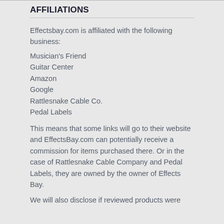AFFILIATIONS
Effectsbay.com is affiliated with the following business:
Musician's Friend
Guitar Center
Amazon
Google
Rattlesnake Cable Co.
Pedal Labels
This means that some links will go to their website and EffectsBay.com can potentially receive a commission for items purchased there. Or in the case of Rattlesnake Cable Company and Pedal Labels, they are owned by the owner of Effects Bay.
We will also disclose if reviewed products were